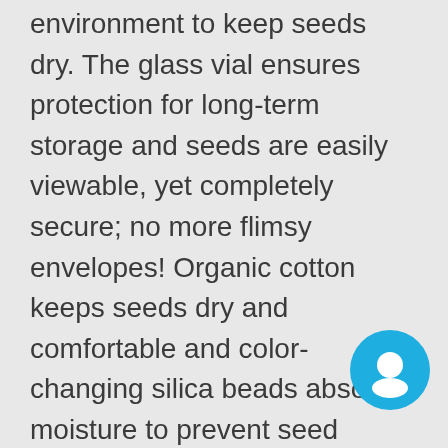environment to keep seeds dry. The glass vial ensures protection for long-term storage and seeds are easily viewable, yet completely secure; no more flimsy envelopes! Organic cotton keeps seeds dry and comfortable and color-changing silica beads absorb moisture to prevent seed damage.
Plant your seeds now or save seeds to grow year after year. Collect seeds from your own harvest and place the seeds into your Frozen Seed Capsules™ to save the seeds for planting next season.
Perfect for both the rare seeds collector and